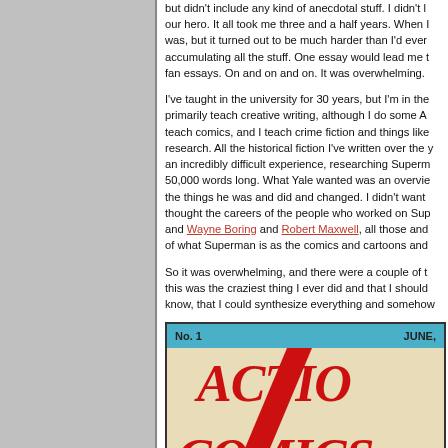but didn't include any kind of anecdotal stuff. I didn't like our hero. It all took me three and a half years. When I was, but it turned out to be much harder than I'd ever accumulating all the stuff. One essay would lead me t fan essays. On and on and on. It was overwhelming.
I've taught in the university for 30 years, but I'm in the primarily teach creative writing, although I do some A teach comics, and I teach crime fiction and things like research. All the historical fiction I've written over the an incredibly difficult experience, researching Superman 50,000 words long. What Yale wanted was an overview the things he was and did and changed. I didn't want thought the careers of the people who worked on Superman and Wayne Boring and Robert Maxwell, all those and of what Superman is as the comics and cartoons and
So it was overwhelming, and there were a couple of t this was the craziest thing I ever did and that I should know, that I could synthesize everything and somehow
[Figure (illustration): Partial view of Action Comics No. 1 cover, June issue, showing the iconic red 'ACTION COMICS' logo text on a cream/yellow background with a red triangular shape visible.]